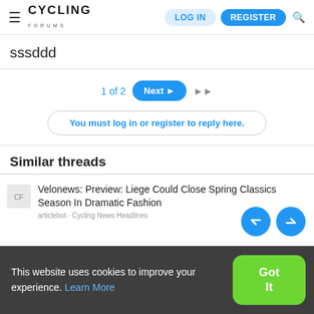Cycling Forums — LOG IN | REGISTER
sssddd
1 of 2   Next ▶   ▶▶
You must log in or register to reply here.
Similar threads
Velonews: Preview: Liege Could Close Spring Classics Season In Dramatic Fashion
articlebot · Cycling News Headlines
This website uses cookies to improve your experience. Learn More